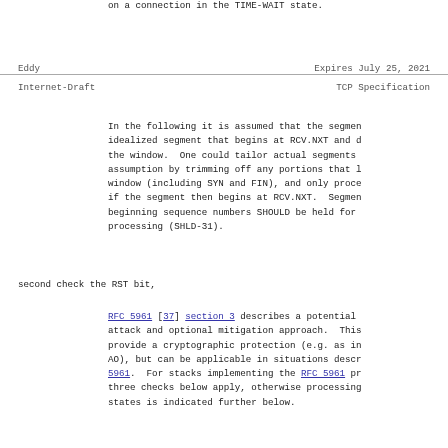on a connection in the TIME-WAIT state.
Eddy                          Expires July 25, 2021
Internet-Draft                TCP Specification
In the following it is assumed that the segment idealized segment that begins at RCV.NXT and d the window.  One could tailor actual segments assumption by trimming off any portions that l window (including SYN and FIN), and only proce if the segment then begins at RCV.NXT.  Segmen beginning sequence numbers SHOULD be held for processing (SHLD-31).
second check the RST bit,
RFC 5961 [37] section 3 describes a potential attack and optional mitigation approach.  This provide a cryptographic protection (e.g. as in AO), but can be applicable in situations descr 5961.  For stacks implementing the RFC 5961 pr three checks below apply, otherwise processing states is indicated further below.